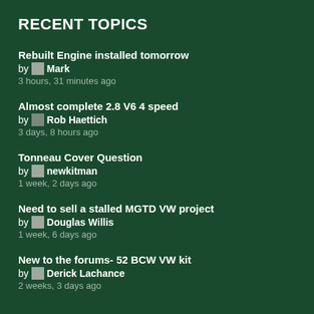RECENT TOPICS
Rebuilt Engine installed tomorrow
by Mark
3 hours, 31 minutes ago
Almost complete 2.8 V6 4 speed
by Rob Haettich
3 days, 8 hours ago
Tonneau Cover Question
by newkitman
1 week, 2 days ago
Need to sell a stalled MGTD VW project
by Douglas Willis
1 week, 6 days ago
New to the forums- 52 BCW VW kit
by Derick Lachance
2 weeks, 3 days ago